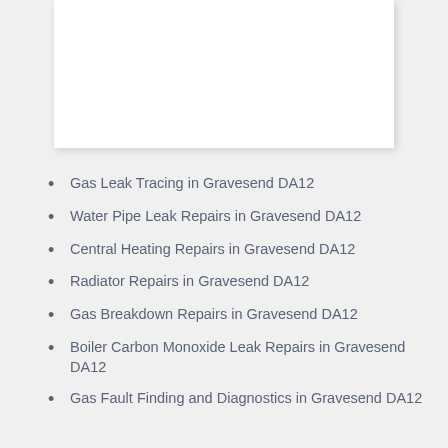Gas Leak Tracing in Gravesend DA12
Water Pipe Leak Repairs in Gravesend DA12
Central Heating Repairs in Gravesend DA12
Radiator Repairs in Gravesend DA12
Gas Breakdown Repairs in Gravesend DA12
Boiler Carbon Monoxide Leak Repairs in Gravesend DA12
Gas Fault Finding and Diagnostics in Gravesend DA12